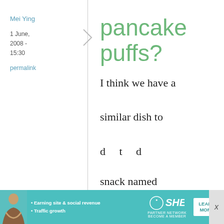Mei Ying
1 June, 2008 - 15:30
permalink
pancake puffs?
I think we have a similar dish to d t d snack named
[Figure (screenshot): SHE Partner Network advertisement banner with woman photo, bullet points about earning site & social revenue and traffic growth, SHE logo, and Learn More button]